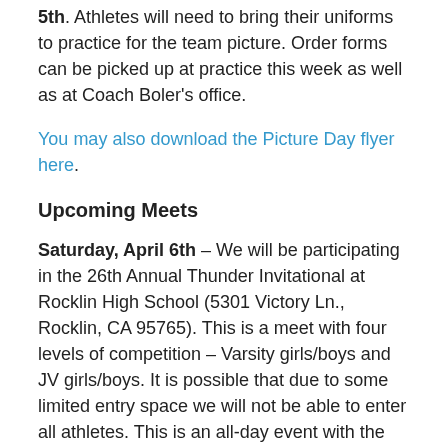5th. Athletes will need to bring their uniforms to practice for the team picture. Order forms can be picked up at practice this week as well as at Coach Boler’s office.
You may also download the Picture Day flyer here.
Upcoming Meets
Saturday, April 6th – We will be participating in the 26th Annual Thunder Invitational at Rocklin High School (5301 Victory Ln., Rocklin, CA 95765). This is a meet with four levels of competition – Varsity girls/boys and JV girls/boys. It is possible that due to some limited entry space we will not be able to enter all athletes. This is an all-day event with the first event starting at 9:00 am. If your athlete can not attend they must let their coaches know by April 2nd.
Tuesday, April 9th – We will have our first Capital Athletic